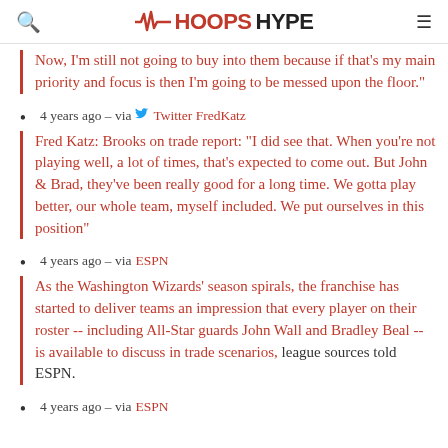HoopsHype
Now, I'm still not going to buy into them because if that's my main priority and focus is then I'm going to be messed upon the floor.
4 years ago – via Twitter FredKatz
Fred Katz: Brooks on trade report: "I did see that. When you're not playing well, a lot of times, that's expected to come out. But John & Brad, they've been really good for a long time. We gotta play better, our whole team, myself included. We put ourselves in this position"
4 years ago – via ESPN
As the Washington Wizards' season spirals, the franchise has started to deliver teams an impression that every player on their roster -- including All-Star guards John Wall and Bradley Beal -- is available to discuss in trade scenarios, league sources told ESPN.
4 years ago – via ESPN